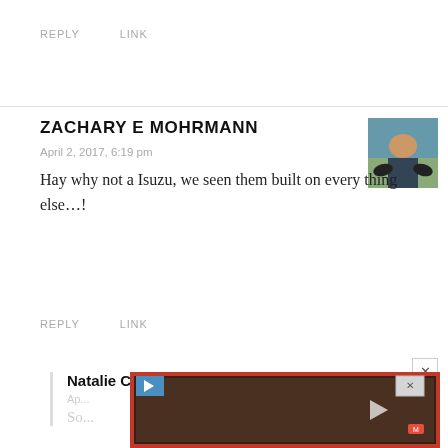REPLY    LINK
ZACHARY E MOHRMANN
April 2, 2017, 6:19 pm
Hay why not a Isuzu, we seen them built on every thing else…!
REPLY    LINK
Natalie C. McKee
[Figure (photo): Profile photo of person on motorized wheelchair/vehicle outdoors]
[Figure (photo): Profile photo of smiling woman outdoors]
[Figure (screenshot): Advertisement banner with red border showing dark video content with playback controls]